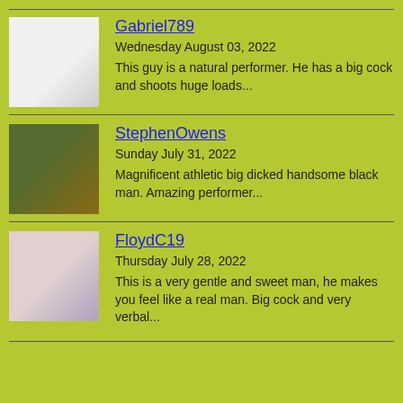[Figure (photo): Profile photo of Gabriel789]
Gabriel789
Wednesday August 03, 2022
This guy is a natural performer. He has a big cock and shoots huge loads...
[Figure (photo): Profile photo of StephenOwens]
StephenOwens
Sunday July 31, 2022
Magnificent athletic big dicked handsome black man. Amazing performer...
[Figure (photo): Profile photo of FloydC19]
FloydC19
Thursday July 28, 2022
This is a very gentle and sweet man, he makes you feel like a real man. Big cock and very verbal...